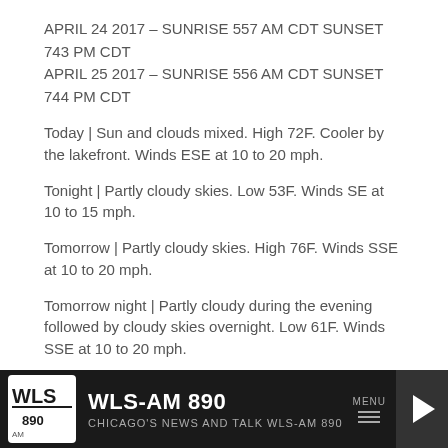APRIL 24 2017 – SUNRISE 557 AM CDT SUNSET 743 PM CDT
APRIL 25 2017 – SUNRISE 556 AM CDT SUNSET 744 PM CDT
Today | Sun and clouds mixed. High 72F. Cooler by the lakefront. Winds ESE at 10 to 20 mph.
Tonight | Partly cloudy skies. Low 53F. Winds SE at 10 to 15 mph.
Tomorrow | Partly cloudy skies. High 76F. Winds SSE at 10 to 20 mph.
Tomorrow night | Partly cloudy during the evening followed by cloudy skies overnight. Low 61F. Winds SSE at 10 to 20 mph.
Wednesday | Afternoon thunderstorms. Highs in the mid 70s and lows in the low 50s.
Thursday | Chance of showers. Highs in the upper 50s and lows in the
WLS-AM 890 CHICAGO'S NEWS AND TALK WLS-AM 890